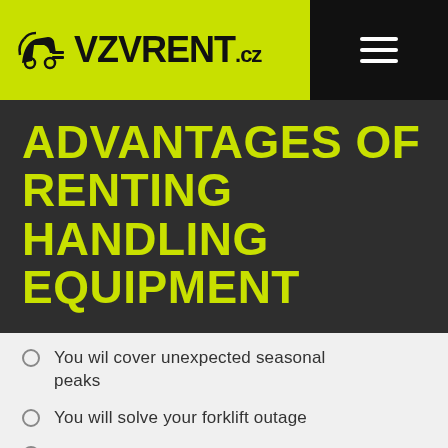VZVRENT.cz
ADVANTAGES OF RENTING HANDLING EQUIPMENT
You wil cover unexpected seasonal peaks
You will solve your forklift outage
You will reduce capital expenditures and increase tax deductible costs
You drive, we care